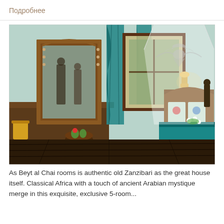Подробнее
[Figure (photo): Interior of Beyt al Chai room showing Zanzibari style decor with teal/turquoise curtains, ornate wooden mirror, carved wooden bed with decorative headboard, white mosquito net canopy with bird motif painted on wall, wooden furniture, and figurines.]
As Beyt al Chai rooms is authentic old Zanzibari as the great house itself. Classical Africa with a touch of ancient Arabian mystique merge in this exquisite, exclusive 5-room...